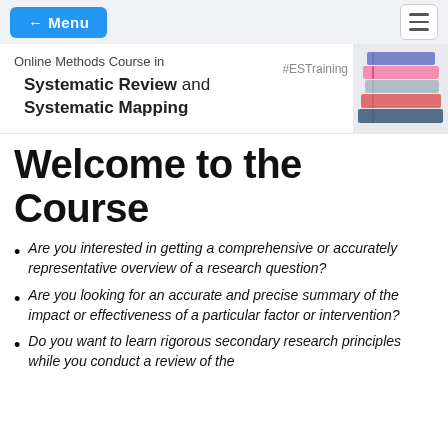← Menu  [hamburger menu]
Online Methods Course in Systematic Review and Systematic Mapping  #ESTraining
Welcome to the Course
Are you interested in getting a comprehensive or accurately representative overview of a research question?
Are you looking for an accurate and precise summary of the impact or effectiveness of a particular factor or intervention?
Do you want to learn rigorous secondary research principles while you conduct a review of the